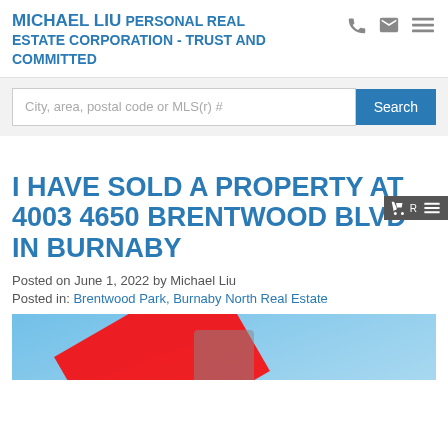MICHAEL LIU PERSONAL REAL ESTATE CORPORATION - TRUST AND COMMITTED
City, area, postal code or MLS(r) #
I HAVE SOLD A PROPERTY AT 4003 4650 BRENTWOOD BLVD IN BURNABY
Posted on June 1, 2022 by Michael Liu
Posted in: Brentwood Park, Burnaby North Real Estate
[Figure (photo): Property image with red diagonal stripe and sold overlay on blue background]